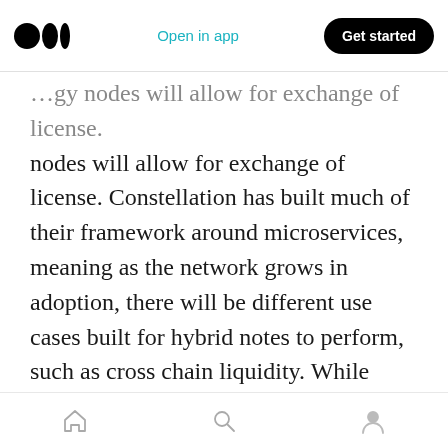Medium logo | Open in app | Get started
nodes will allow for exchange of license. Constellation has built much of their framework around microservices, meaning as the network grows in adoption, there will be different use cases built for hybrid notes to perform, such as cross chain liquidity. While $DAG that bridges the data, currency values and state channels into the ecosystem.
Currently $DAG has a circulating supply of about 2.45 billion at the time, with current total supply around 3.7 billion. The token was launched in
Home | Search | Profile